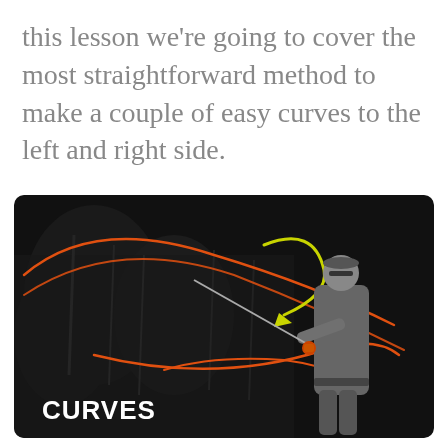this lesson we're going to cover the most straightforward method to make a couple of easy curves to the left and right side.
[Figure (photo): A man fly fishing, shown in grayscale against a dark background. He is holding a fishing rod with an orange fly line making large curved loops in the air. A yellow arrow-like curve is overlaid to indicate the direction of the cast. The text 'CURVES' appears in bold white in the lower left of the image.]